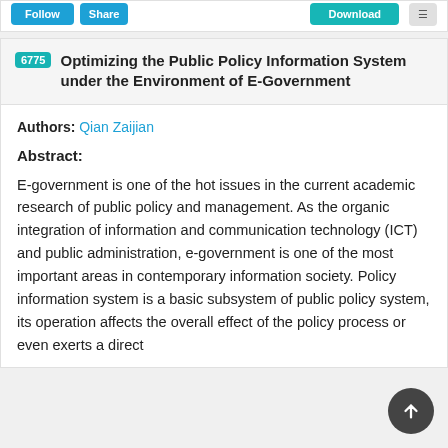6775 Optimizing the Public Policy Information System under the Environment of E-Government
Authors: Qian Zaijian
Abstract:
E-government is one of the hot issues in the current academic research of public policy and management. As the organic integration of information and communication technology (ICT) and public administration, e-government is one of the most important areas in contemporary information society. Policy information system is a basic subsystem of public policy system, its operation affects the overall effect of the policy process or even exerts a direct